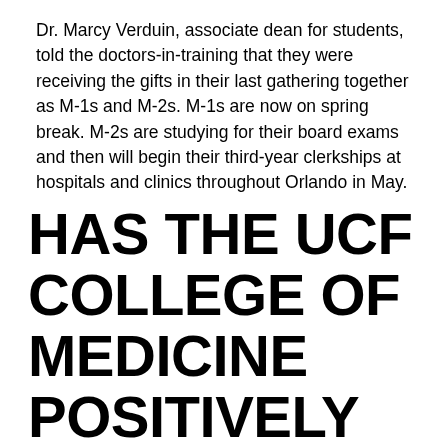Dr. Marcy Verduin, associate dean for students, told the doctors-in-training that they were receiving the gifts in their last gathering together as M-1s and M-2s. M-1s are now on spring break. M-2s are studying for their board exams and then will begin their third-year clerkships at hospitals and clinics throughout Orlando in May.
As he examined his new lunch kit on his way to more studying, M-2 Bryant Lambe smiled at the Tupperware officials and beamed, “This is the best. Ever.”
Post Tags
HAS THE UCF COLLEGE OF MEDICINE POSITIVELY